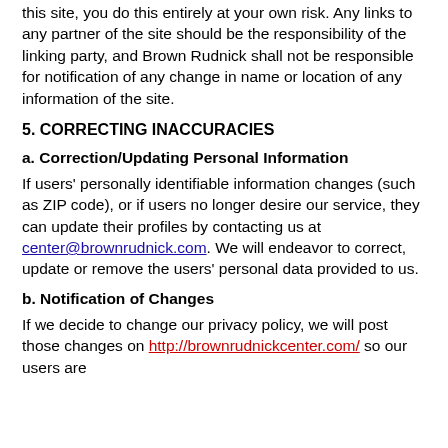this site, you do this entirely at your own risk. Any links to any partner of the site should be the responsibility of the linking party, and Brown Rudnick shall not be responsible for notification of any change in name or location of any information of the site.
5. CORRECTING INACCURACIES
a. Correction/Updating Personal Information
If users' personally identifiable information changes (such as ZIP code), or if users no longer desire our service, they can update their profiles by contacting us at center@brownrudnick.com. We will endeavor to correct, update or remove the users' personal data provided to us.
b. Notification of Changes
If we decide to change our privacy policy, we will post those changes on http://brownrudnickcenter.com/ so our users are